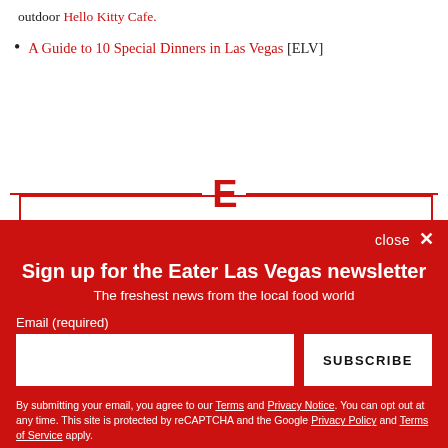outdoor Hello Kitty Cafe.
A Guide to 10 Special Dinners in Las Vegas [ELV]
[Figure (logo): Eater E logo in red with red horizontal lines on either side]
Eater Vegas
Sign up for our newsletter.
close ×
Sign up for the Eater Las Vegas newsletter
The freshest news from the local food world
Email (required)
SUBSCRIBE
By submitting your email, you agree to our Terms and Privacy Notice. You can opt out at any time. This site is protected by reCAPTCHA and the Google Privacy Policy and Terms of Service apply.